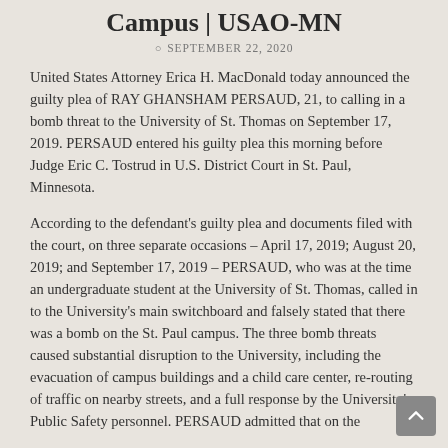Campus | USAO-MN
SEPTEMBER 22, 2020
United States Attorney Erica H. MacDonald today announced the guilty plea of RAY GHANSHAM PERSAUD, 21, to calling in a bomb threat to the University of St. Thomas on September 17, 2019. PERSAUD entered his guilty plea this morning before Judge Eric C. Tostrud in U.S. District Court in St. Paul, Minnesota.
According to the defendant's guilty plea and documents filed with the court, on three separate occasions – April 17, 2019; August 20, 2019; and September 17, 2019 – PERSAUD, who was at the time an undergraduate student at the University of St. Thomas, called in to the University's main switchboard and falsely stated that there was a bomb on the St. Paul campus. The three bomb threats caused substantial disruption to the University, including the evacuation of campus buildings and a child care center, re-routing of traffic on nearby streets, and a full response by the University's Public Safety personnel. PERSAUD admitted that on the